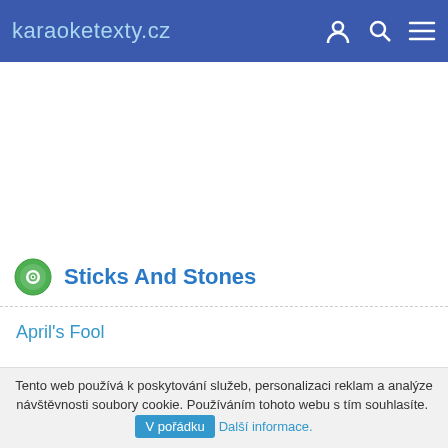karaoketexty.cz
Sticks And Stones
April's Fool
Tento web používá k poskytování služeb, personalizaci reklam a analýze návštěvnosti soubory cookie. Používáním tohoto webu s tím souhlasíte. V pořádku Další informace.